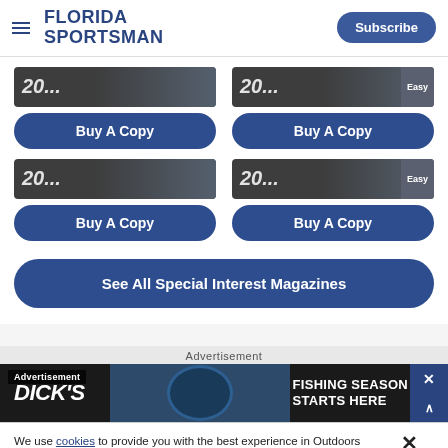Florida Sportsman — Subscribe
[Figure (screenshot): Magazine cover thumbnail showing '20...' with dark background, left column]
Buy A Copy
[Figure (screenshot): Magazine cover thumbnail showing '20...' with dark background and 'Easy' tag, right column]
Buy A Copy
[Figure (screenshot): Magazine cover thumbnail showing '20...' with dark background, left column second row]
Buy A Copy
[Figure (screenshot): Magazine cover thumbnail showing '20...' with dark background and 'Easy' tag, right column second row]
Buy A Copy
See All Special Interest Magazines
Advertisement
[Figure (screenshot): Dick's Sporting Goods advertisement banner — FISHING SEASON STARTS HERE]
We use cookies to provide you with the best experience in Outdoors programming. Click accept to continue or read about our Privacy Policy.